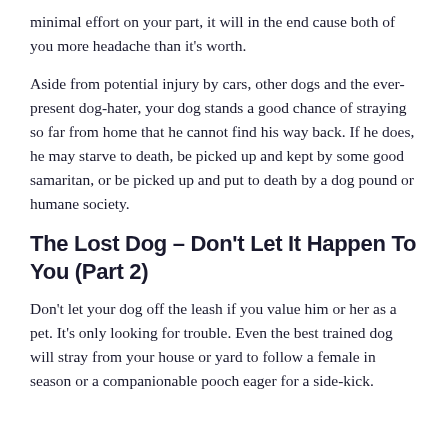minimal effort on your part, it will in the end cause both of you more headache than it's worth.
Aside from potential injury by cars, other dogs and the ever-present dog-hater, your dog stands a good chance of straying so far from home that he cannot find his way back. If he does, he may starve to death, be picked up and kept by some good samaritan, or be picked up and put to death by a dog pound or humane society.
The Lost Dog – Don't Let It Happen To You (Part 2)
Don't let your dog off the leash if you value him or her as a pet. It's only looking for trouble. Even the best trained dog will stray from your house or yard to follow a female in season or a companionable pooch eager for a side-kick.